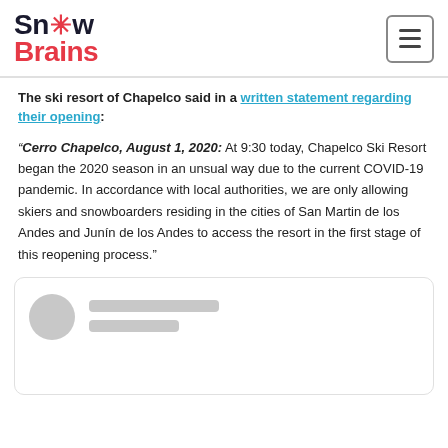SnowBrains
The ski resort of Chapelco said in a written statement regarding their opening:
“Cerro Chapelco, August 1, 2020: At 9:30 today, Chapelco Ski Resort began the 2020 season in an unsual way due to the current COVID-19 pandemic. In accordance with local authorities, we are only allowing skiers and snowboarders residing in the cities of San Martin de los Andes and Junín de los Andes to access the resort in the first stage of this reopening process.”
[Figure (other): Social media card placeholder with circular avatar and two grey text lines]